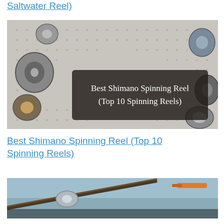Saltwater Reel)
[Figure (photo): Pegboard wall covered with many fishing reels of various types, with a dark semi-transparent overlay box in the center containing the text 'Best Shimano Spinning Reel (Top 10 Spinning Reels)']
Best Shimano Spinning Reel (Top 10 Spinning Reels)
[Figure (photo): Close-up photo of a fishing rod and reel near water, with an orange fishing lure visible]